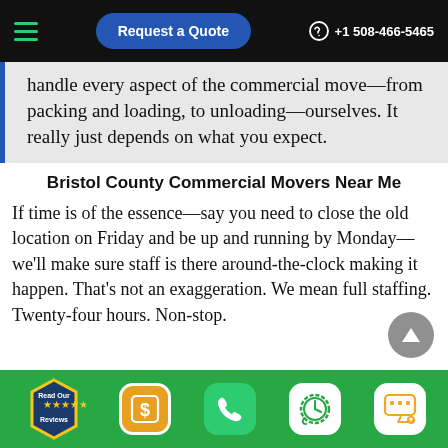Request a Quote  +1 508-466-5465
handle every aspect of the commercial move—from packing and loading, to unloading—ourselves. It really just depends on what you expect.
Bristol County Commercial Movers Near Me
If time is of the essence—say you need to close the old location on Friday and be up and running by Monday—we'll make sure staff is there around-the-clock making it happen. That's not an exaggeration. We mean full staffing. Twenty-four hours. Non-stop.
Read Our Reviews | $ | Phone | Clock | Chat